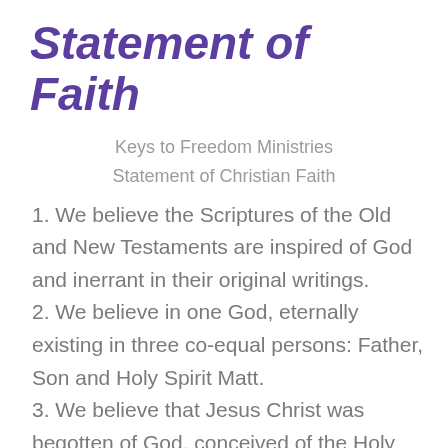Statement of Faith
Keys to Freedom Ministries
Statement of Christian Faith
1. We believe the Scriptures of the Old and New Testaments are inspired of God and inerrant in their original writings.
2. We believe in one God, eternally existing in three co-equal persons: Father, Son and Holy Spirit Matt.
3. We believe that Jesus Christ was begotten of God, conceived of the Holy Spirit and born of the Virgin Mary.
4. We believe that man was created in the image of God, but he chose to sin